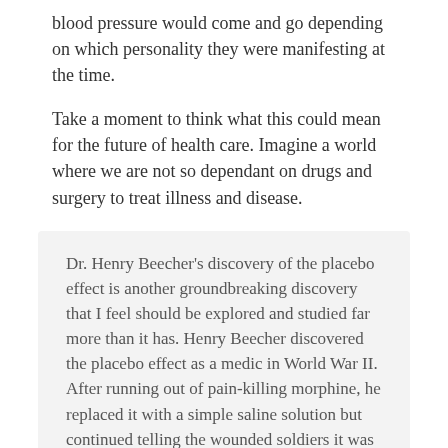blood pressure would come and go depending on which personality they were manifesting at the time.
Take a moment to think what this could mean for the future of health care. Imagine a world where we are not so dependant on drugs and surgery to treat illness and disease.
Dr. Henry Beecher's discovery of the placebo effect is another groundbreaking discovery that I feel should be explored and studied far more than it has. Henry Beecher discovered the placebo effect as a medic in World War II. After running out of pain-killing morphine, he replaced it with a simple saline solution but continued telling the wounded soldiers it was morphine to calm them. To his surprise, almost half of the soldiers reported that the inert saline solution actually reduced or erased their pain.
Courtesy of the National Library of Medicine and the